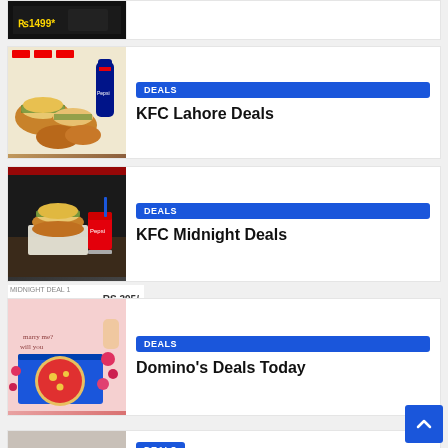[Figure (photo): Partial top card showing food/deal image with Rs 1499 text, clipped at top]
[Figure (photo): KFC Lahore Deals card with burgers and Pepsi bottle image]
DEALS
KFC Lahore Deals
[Figure (photo): KFC Midnight Deals card with burger and Pepsi cup, Rs 395/- price shown]
DEALS
KFC Midnight Deals
RS 395/-
[Figure (photo): Domino's Deals Today card with pizza box and toppings]
DEALS
Domino's Deals Today
[Figure (photo): Partial bottom card with #KFCFEELGOOD text, clipped]
DEALS